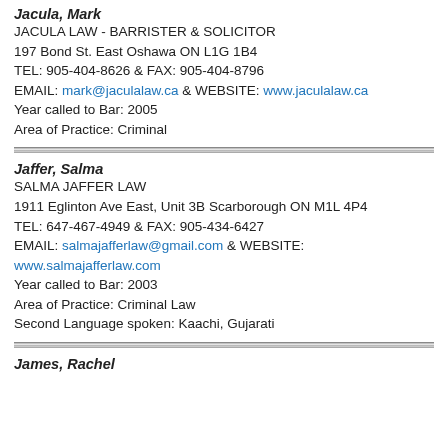Jacula, Mark
JACULA LAW - BARRISTER & SOLICITOR
197 Bond St. East Oshawa ON L1G 1B4
TEL: 905-404-8626 & FAX: 905-404-8796
EMAIL: mark@jaculalaw.ca & WEBSITE: www.jaculalaw.ca
Year called to Bar: 2005
Area of Practice: Criminal
Jaffer, Salma
SALMA JAFFER LAW
1911 Eglinton Ave East, Unit 3B Scarborough ON M1L 4P4
TEL: 647-467-4949 & FAX: 905-434-6427
EMAIL: salmajafferlaw@gmail.com & WEBSITE: www.salmajafferlaw.com
Year called to Bar: 2003
Area of Practice: Criminal Law
Second Language spoken: Kaachi, Gujarati
James, Rachel